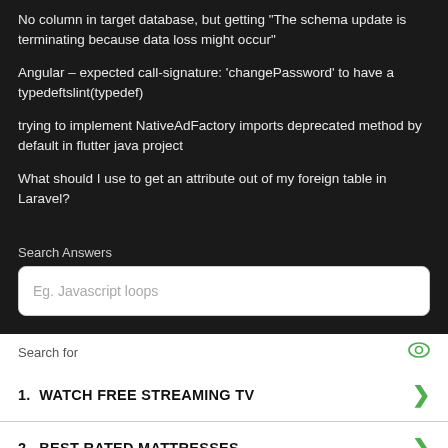No column in target database, but getting "The schema update is terminating because data loss might occur"
Angular – expected call-signature: 'changePassword' to have a typedeftslint(typedef)
trying to implement NativeAdFactory imports deprecated method by default in flutter java project
What should I use to get an attribute out of my foreign table in Laravel?
Search Answers
Eg. Javascript loops
Search for
1.  WATCH FREE STREAMING TV
2.  BEST RATED MATTRESSES
Ad | Business Focus